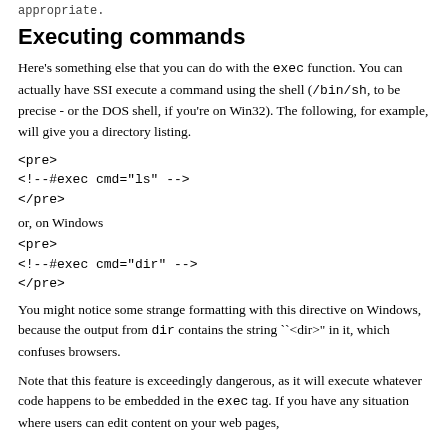appropriate.
Executing commands
Here's something else that you can do with the exec function. You can actually have SSI execute a command using the shell (/bin/sh, to be precise - or the DOS shell, if you're on Win32). The following, for example, will give you a directory listing.
<pre>
<!--#exec cmd="ls" -->
</pre>
or, on Windows
<pre>
<!--#exec cmd="dir" -->
</pre>
You might notice some strange formatting with this directive on Windows, because the output from dir contains the string ``<dir>" in it, which confuses browsers.
Note that this feature is exceedingly dangerous, as it will execute whatever code happens to be embedded in the exec tag. If you have any situation where users can edit content on your web pages,